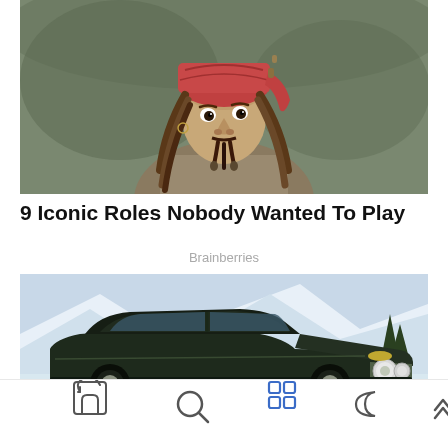[Figure (photo): A person dressed as a pirate character wearing a red headscarf and dreadlocks, looking intensely at the camera against a rocky background.]
9 Iconic Roles Nobody Wanted To Play
Brainberries
[Figure (photo): A dark green classic Aston Martin sports car photographed in a snowy mountainous setting.]
[Figure (infographic): Bottom navigation bar with home, search, grid, moon/night mode, and up arrow icons.]